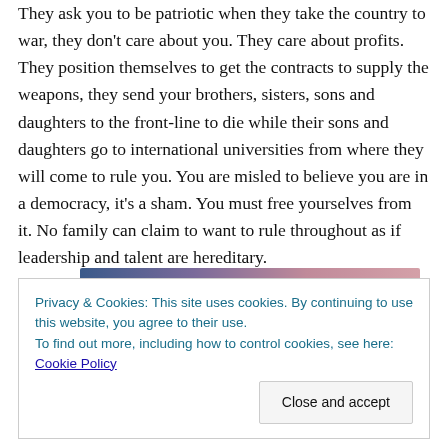They ask you to be patriotic when they take the country to war, they don't care about you. They care about profits. They position themselves to get the contracts to supply the weapons, they send your brothers, sisters, sons and daughters to the front-line to die while their sons and daughters go to international universities from where they will come to rule you. You are misled to believe you are in a democracy, it's a sham. You must free yourselves from it. No family can claim to want to rule throughout as if leadership and talent are hereditary.
[Figure (other): Horizontal gradient bar transitioning from dark blue on the left through purple to pinkish-beige on the right.]
Privacy & Cookies: This site uses cookies. By continuing to use this website, you agree to their use.
To find out more, including how to control cookies, see here: Cookie Policy
Close and accept